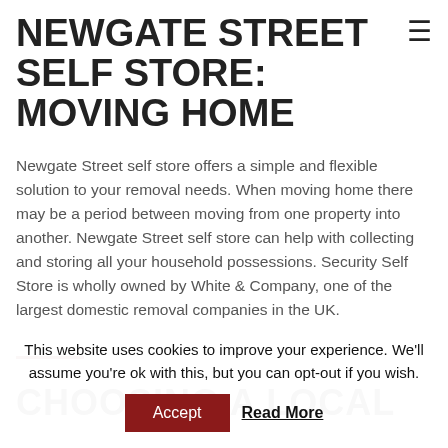NEWGATE STREET SELF STORE: MOVING HOME
Newgate Street self store offers a simple and flexible solution to your removal needs. When moving home there may be a period between moving from one property into another. Newgate Street self store can help with collecting and storing all your household possessions. Security Self Store is wholly owned by White & Company, one of the largest domestic removal companies in the UK.
CHOOSING A LOCAL
This website uses cookies to improve your experience. We'll assume you're ok with this, but you can opt-out if you wish.